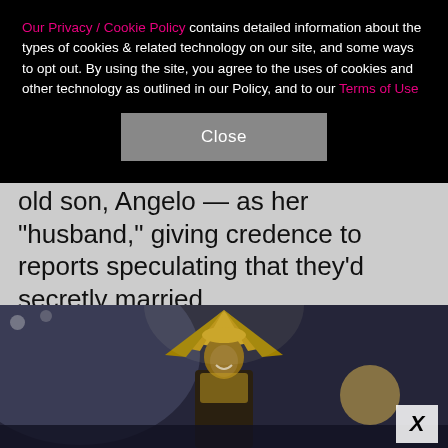Our Privacy / Cookie Policy contains detailed information about the types of cookies & related technology on our site, and some ways to opt out. By using the site, you agree to the uses of cookies and other technology as outlined in our Policy, and to our Terms of Use
Close
old son, Angelo — as her "husband," giving credence to reports speculating that they'd secretly married.
RELATED: Hottest 2017 Grammy duos
[Figure (photo): Woman in gold headdress and costume performing on a stage with lights in the background. An X close button is visible in the lower right corner.]